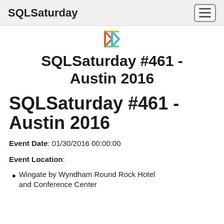SQLSaturday
[Figure (logo): SQLSaturday logo mark, colorful diamond/arrow shapes]
SQLSaturday #461 - Austin 2016
SQLSaturday #461 - Austin 2016
Event Date: 01/30/2016 00:00:00
Event Location:
Wingate by Wyndham Round Rock Hotel and Conference Center